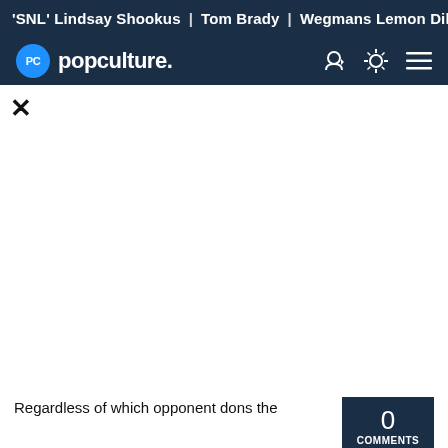'SNL' Lindsay Shookus | Tom Brady | Wegmans Lemon Dill Fi
[Figure (logo): Popculture.com logo with navigation icons]
Regardless of which opponent dons the
0 COMMENTS